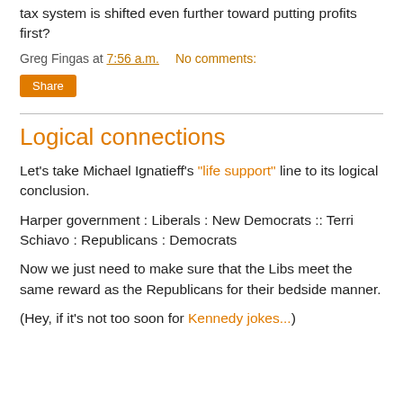tax system is shifted even further toward putting profits first?
Greg Fingas at 7:56 a.m.   No comments:
Share
Logical connections
Let's take Michael Ignatieff's "life support" line to its logical conclusion.
Harper government : Liberals : New Democrats :: Terri Schiavo : Republicans : Democrats
Now we just need to make sure that the Libs meet the same reward as the Republicans for their bedside manner.
(Hey, if it's not too soon for Kennedy jokes...)